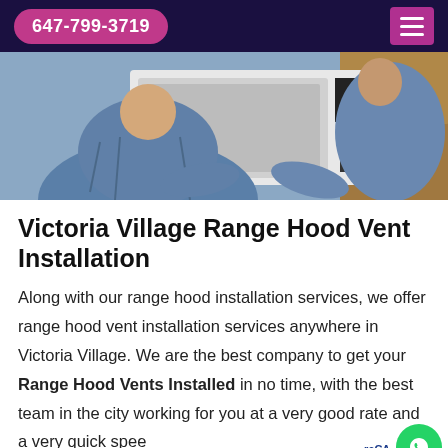647-799-3719
[Figure (photo): Two workers in blue denim shirts installing or handling a white microwave oven against kitchen cabinetry]
Victoria Village Range Hood Vent Installation
Along with our range hood installation services, we offer range hood vent installation services anywhere in Victoria Village. We are the best company to get your Range Hood Vents Installed in no time, with the best team in the city working for you at a very good rate and a very quick speed